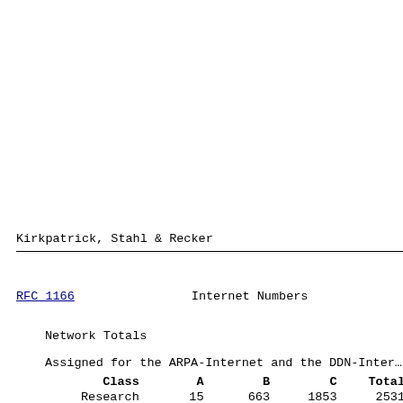Kirkpatrick, Stahl & Recker
RFC 1166                    Internet Numbers
Network Totals
Assigned for the ARPA-Internet and the DDN-Internet
| Class | A | B | C | Total |
| --- | --- | --- | --- | --- |
| Research | 15 | 663 | 1853 | 2531 |